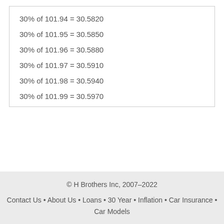30% of 101.94 = 30.5820
30% of 101.95 = 30.5850
30% of 101.96 = 30.5880
30% of 101.97 = 30.5910
30% of 101.98 = 30.5940
30% of 101.99 = 30.5970
© H Brothers Inc, 2007–2022
Contact Us • About Us • Loans • 30 Year • Inflation • Car Insurance • Car Models